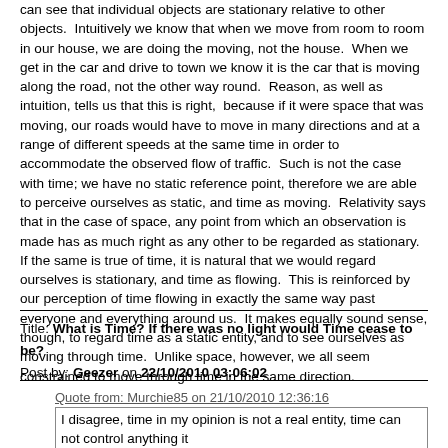can see that individual objects are stationary relative to other objects.  Intuitively we know that when we move from room to room in our house, we are doing the moving, not the house.  When we get in the car and drive to town we know it is the car that is moving along the road, not the other way round.  Reason, as well as intuition, tells us that this is right,  because if it were space that was moving, our roads would have to move in many directions and at a range of different speeds at the same time in order to accommodate the observed flow of traffic.  Such is not the case with time; we have no static reference point, therefore we are able to perceive ourselves as static, and time as moving.  Relativity says that in the case of space, any point from which an observation is made has as much right as any other to be regarded as stationary.  If the same is true of time, it is natural that we would regard ourselves is stationary, and time as flowing.  This is reinforced by our perception of time flowing in exactly the same way past everyone and everything around us.  It makes equally sound sense, though, to regard time as a static entity, and to see ourselves as moving through time.  Unlike space, however, we all seem constrained to move through time in the same direction.
Title: What is Time? If there was no light would Time cease to be?
Post by: Geezer on 22/10/2010 03:06:02
Quote from: Murchie85 on 21/10/2010 12:36:16
I disagree, time in my opinion is not a real entity, time can not control anything it